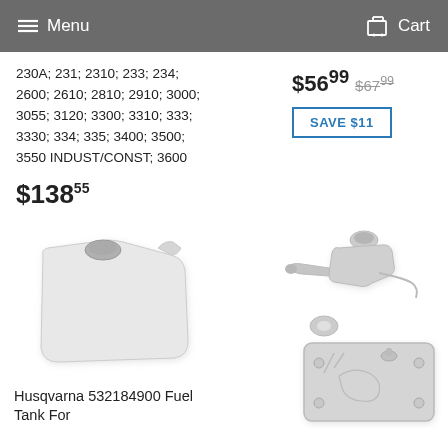Menu  Cart
230A; 231; 2310; 233; 234; 2600; 2610; 2810; 2910; 3000; 3055; 3120; 3300; 3310; 333; 3330; 334; 335; 3400; 3500; 3550 INDUST/CONST; 3600
$56.99  $67.99
SAVE $11
$138.55
[Figure (photo): Husqvarna fuel tank, white plastic, rectangular shape with a small cap]
Husqvarna 532184900 Fuel Tank For
[Figure (photo): Fuel system parts including a fuel valve/petcock assembly, a small disc/washer, and a rectangular metal fuel tank with molded features]